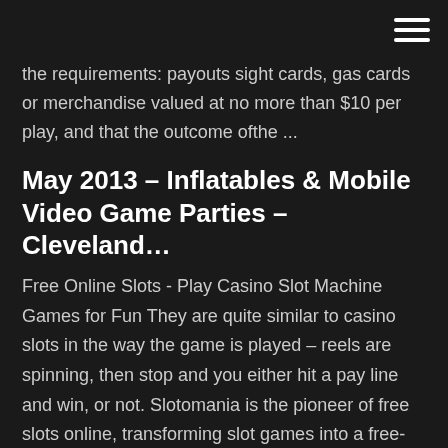the requirements: payouts sight cards, gas cards or merchandise valued at no more than $10 per play, and that the outcome ofthe ...
May 2013 – Inflatables & Mobile Video Game Parties – Cleveland…
Free Online Slots - Play Casino Slot Machine Games for Fun They are quite similar to casino slots in the way the game is played – reels are spinning, then stop and you either hit a pay line and win, or not. Slotomania is the pioneer of free slots online, transforming slot games into a free-for-all, fun and engaging gaming experience – the #1 free online slots experience. Home - Slot Machines For Sale | Used Slot Machines Used slot machines and other casino equipment at parts for sale online at wholesale pricing. Sales: 1-937…